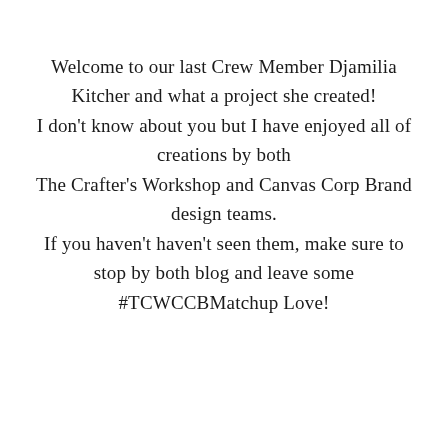Welcome to our last Crew Member Djamilia Kitcher and what a project she created! I don't know about you but I have enjoyed all of creations by both The Crafter's Workshop and Canvas Corp Brand design teams. If you haven't haven't seen them, make sure to stop by both blog and leave some #TCWCCBMatchup Love!